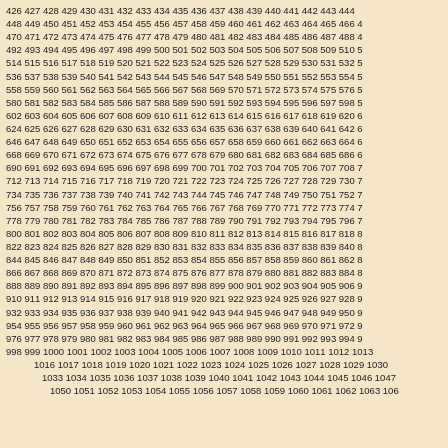426 427 428 429 430 431 432 433 434 435 436 437 438 439 440 441 442 443 444 ... 448 449 450 451 452 453 454 455 456 457 458 459 460 461 462 463 464 465 466 4... 470 471 472 473 474 475 476 477 478 479 480 481 482 483 484 485 486 487 488 4... (sequential numbers from 426 to 1063+)